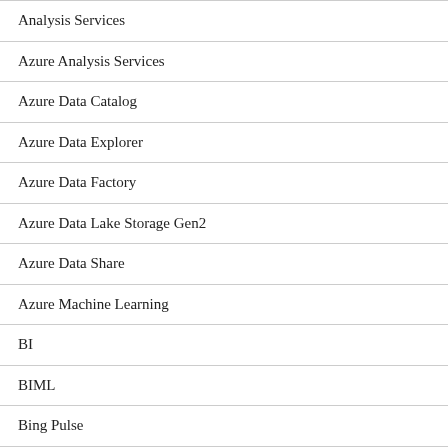Analysis Services
Azure Analysis Services
Azure Data Catalog
Azure Data Explorer
Azure Data Factory
Azure Data Lake Storage Gen2
Azure Data Share
Azure Machine Learning
BI
BIML
Bing Pulse
BISM
Books
Business
Client Tools